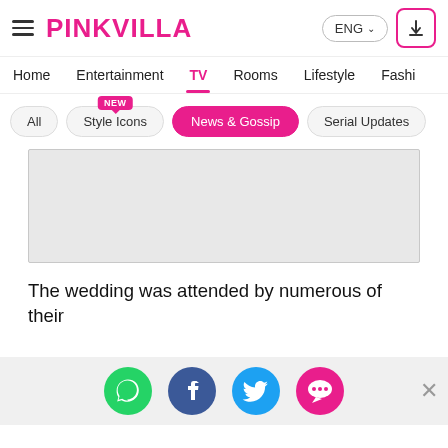PINKVILLA — ENG
Home  Entertainment  TV  Rooms  Lifestyle  Fashion
All
Style Icons (NEW)
News & Gossip
Serial Updates
[Figure (other): Grey advertisement placeholder box]
The wedding was attended by numerous of their
[Figure (other): Social share icons row: WhatsApp (green), Facebook (blue), Twitter (light blue), Comment/chat (pink/red). Close X button on right.]